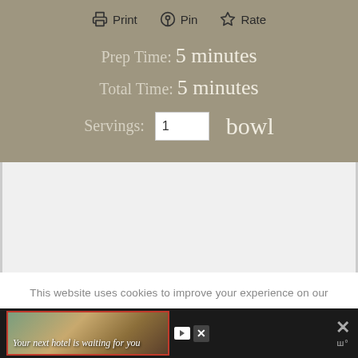Print  Pin  Rate
Prep Time: 5 minutes
Total Time: 5 minutes
Servings: 1 bowl
This website uses cookies to improve your experience on our website. Click here for more information.
[Figure (screenshot): Advertisement banner: 'Your next hotel is waiting for you' with hotel image and close button]